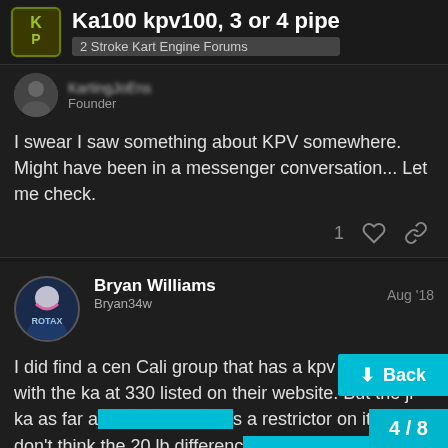Ka100 kpv100, 3 or 4 pipe | 2 Stroke Kart Engine Forums
KartingJoEns
Founder
I swear I saw something about KPV somewhere. Might have been in a messenger conversation... Let me check.
Bryan Williams
Bryan34w
Aug '18
I did find a cen Cali group that has a kpv 2 at 310 with the ka at 330 listed on their website. But the jr ka as far a s a restrictor on it so I don't think the 20 lb differenc te the same to an unrestricted Sr weight of 3r